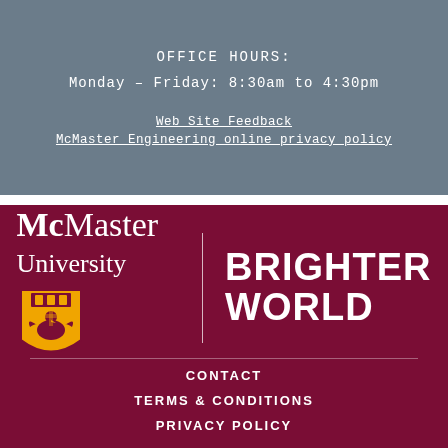OFFICE HOURS:
Monday – Friday: 8:30am to 4:30pm
Web Site Feedback
McMaster Engineering online privacy policy
[Figure (logo): McMaster University logo with shield crest and 'BRIGHTER WORLD' text]
CONTACT
TERMS & CONDITIONS
PRIVACY POLICY